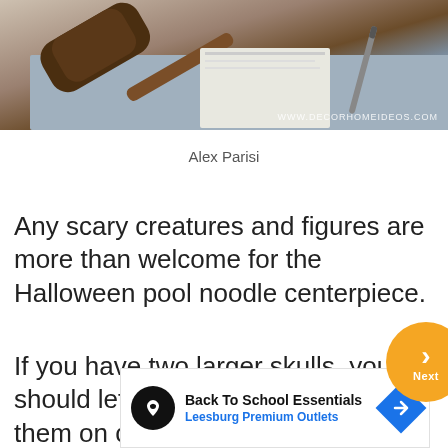[Figure (photo): Photo of a gavel/judge hammer on a desk with papers and a pen, with watermark WWW.DECORHOMEIDEOS.COM]
Alex Parisi
Any scary creatures and figures are more than welcome for the Halloween pool noodle centerpiece.
If you have two larger skulls, you should let them pop out, putting them on candle
[Figure (other): Advertisement: Back To School Essentials - Leesburg Premium Outlets with logo and navigation icon]